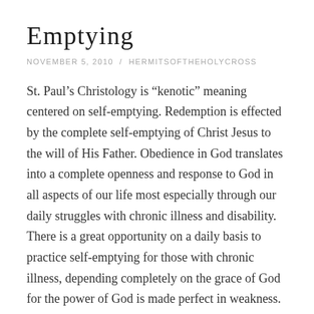Emptying
NOVEMBER 5, 2010  /  HERMITSOFTHEHOLYCROSS
St. Paul’s Christology is “kenotic” meaning centered on self-emptying. Redemption is effected by the complete self-emptying of Christ Jesus to the will of His Father. Obedience in God translates into a complete openness and response to God in all aspects of our life most especially through our daily struggles with chronic illness and disability. There is a great opportunity on a daily basis to practice self-emptying for those with chronic illness, depending completely on the grace of God for the power of God is made perfect in weakness. Throughout Scripture we find the values of God are not the same as man’s values. The rich are the real poor, the weak are those who are strong, the alienated